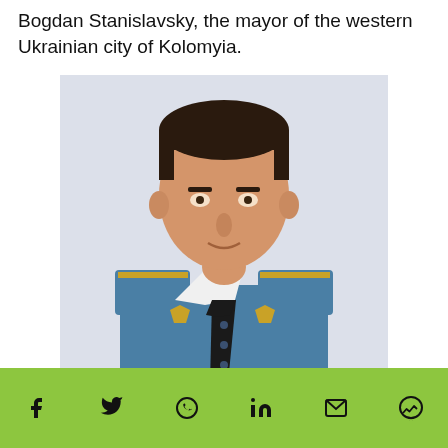Bogdan Stanislavsky, the mayor of the western Ukrainian city of Kolomyia.
[Figure (photo): Official portrait photo of a man in a blue military/official uniform with gold shoulder epaulettes, white shirt, and black tie. Short dark hair, neutral expression, white background.]
Social share icons: Facebook, Twitter, WhatsApp, LinkedIn, Email, Messenger